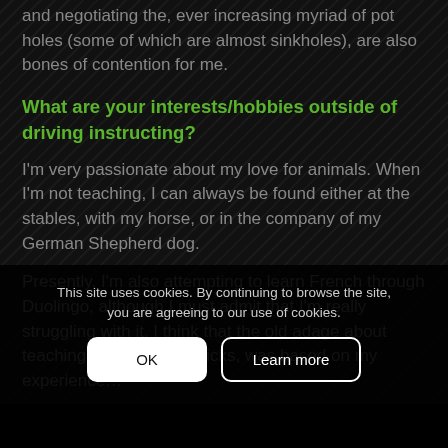and negotiating the, ever increasing myriad of pot holes (some of which are almost sinkholes), are also bones of contention for me.
What are your interests/hobbies outside of driving instructing?
I'm very passionate about my love for animals. When I'm not teaching, I can always be found either at the stables, with my horse, or in the company of my German Shepherd dog.
Presently, I'm also attempting to learn French through Duolingo, although I must admit that I'm really struggling with it. I think that the old adage about teaching old dogs new tricks, was based on my experience…
This site uses cookies. By continuing to browse the site, you are agreeing to our use of cookies.